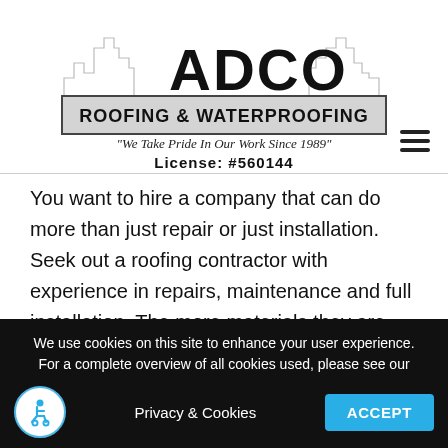[Figure (logo): ADCO Roofing & Waterproofing logo with city skyline outline, bold ADCO text, banner reading 'ROOFING & WATERPROOFING', tagline 'We Take Pride In Our Work Since 1989', and 'License: #560144']
You want to hire a company that can do more than just repair or just installation. Seek out a roofing contractor with experience in repairs, maintenance and full installation. The more materials they are familiar with
We use cookies on this site to enhance your user experience. For a complete overview of all cookies used, please see our
Privacy & Cookies
ACCEPT